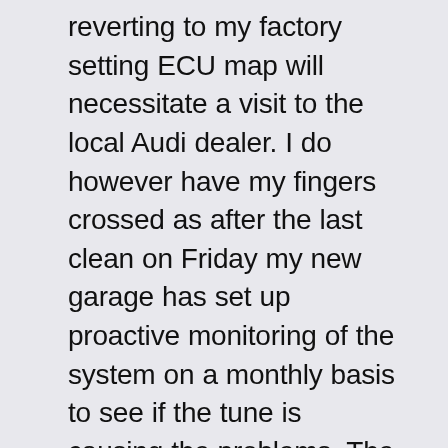reverting to my factory setting ECU map will necessitate a visit to the local Audi dealer. I do however have my fingers crossed as after the last clean on Friday my new garage has set up proactive monitoring of the system on a monthly basis to see if the tune is causing the problems. The short response then is be wary remapping your diesel you could have unintended consequences. Certainly if you go ahead choose a well know brand with longevity in the business.